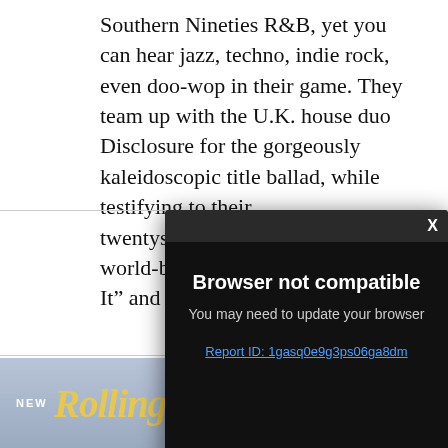Southern Nineties R&B, yet you can hear jazz, techno, indie rock, even doo-wop in their game. They team up with the U.K. house duo Disclosure for the gorgeously kaleidoscopic title ballad, while testifying to their twentysomething grit with the world-beating confidence of “Do It” and “Baby Girl.” —R.S.
[Figure (screenshot): Browser not compatible modal overlay on a dark background with message: 'You may need to update your browser' and a Report ID link: 1gasq0e9g3ps06ga8dm]
[Figure (photo): Number badge showing '18' in white on red background, next to a dark partial photo]
[Figure (logo): Rolling Stone magazine advertisement banner: NEW Rolling Stone, ON SALE SEP 5, SUBSCRIBE button]